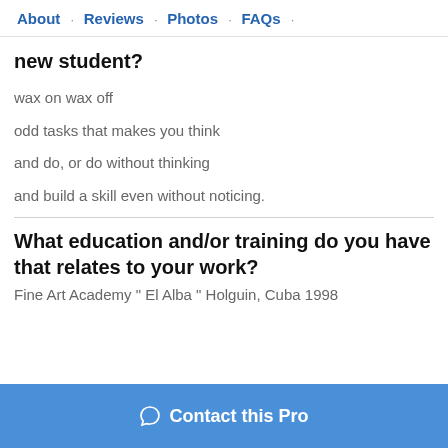About · Reviews · Photos · FAQs ·
new student?
wax on wax off
odd tasks that makes you think
and do, or do without thinking
and build a skill even without noticing.
What education and/or training do you have that relates to your work?
Fine Art Academy " El Alba " Holguin, Cuba 1998
Contact this Pro